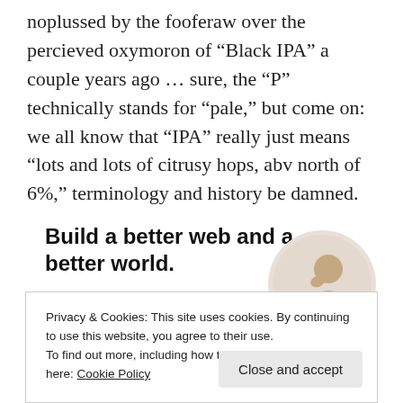noplussed by the fooferaw over the percieved oxymoron of “Black IPA” a couple years ago … sure, the “P” technically stands for “pale,” but come on: we all know that “IPA” really just means “lots and lots of citrusy hops, abv north of 6%,” terminology and history be damned.
[Figure (other): Advertisement banner: 'Build a better web and a better world.' with an Apply button and a circular photo of a person thinking.]
Privacy & Cookies: This site uses cookies. By continuing to use this website, you agree to their use.
To find out more, including how to control cookies, see here: Cookie Policy